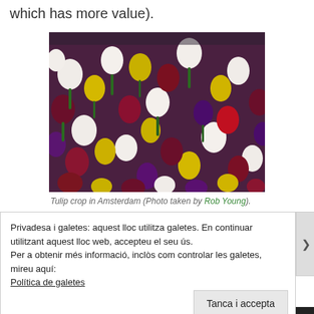which has more value).
[Figure (photo): Tulip crop in Amsterdam showing colorful tulips in red, white, yellow, and purple colors densely packed in a field.]
Tulip crop in Amsterdam (Photo taken by Rob Young).
Privadesa i galetes: aquest lloc utilitza galetes. En continuar utilitzant aquest lloc web, accepteu el seu ús.
Per a obtenir més informació, inclòs com controlar les galetes, mireu aquí:
Política de galetes
Tanca i accepta